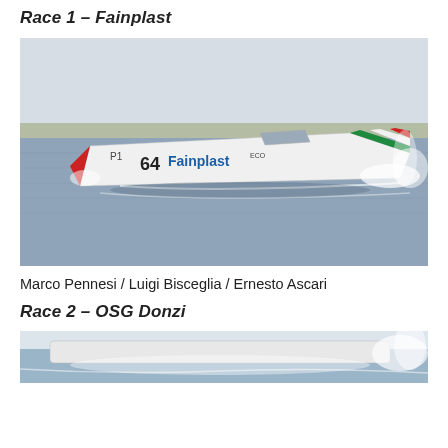Race 1 – Fainplast
[Figure (photo): High-speed offshore powerboat racing on water. The white boat numbered 64 with 'Fainplast' branding and Italian flag colors is airborne above the water surface, with spray visible behind it. Overcast sky and distant shoreline in background.]
Marco Pennesi / Luigi Bisceglia / Ernesto Ascari
Race 2 – OSG Donzi
[Figure (photo): Partial view of another offshore powerboat racing on choppy water. Only the top portion of the boat and spray are visible, cropped at bottom of page.]